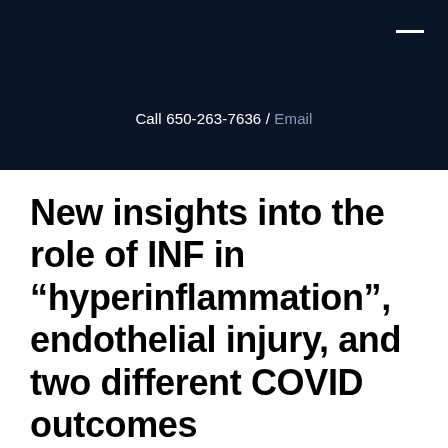Call 650-263-7636 / Email
New insights into the role of INF in “hyperinflammation”, endothelial injury, and two different COVID outcomes
Transl Res 2021 Mar 5:S1931-